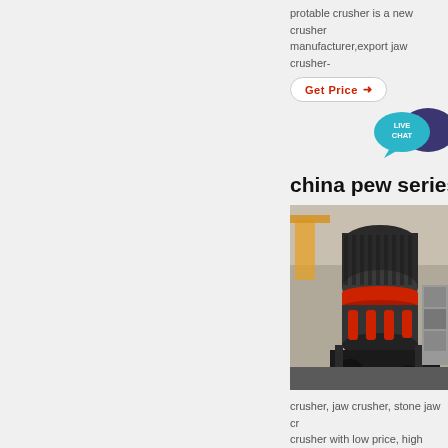protable crusher is a new crusher manufacturer,export jaw crusher-
[Figure (other): Get Price button with arrow]
[Figure (other): Live Chat speech bubble icon with teal/dark purple colors, text: LIVE CHAT]
china pew series
[Figure (photo): Industrial cone crusher machine in a factory setting, dark grey and red colors]
crusher, jaw crusher, stone jaw crusher with low price, high capacity for sri lanka from china and so on
[Figure (other): Get Price button with arrow]